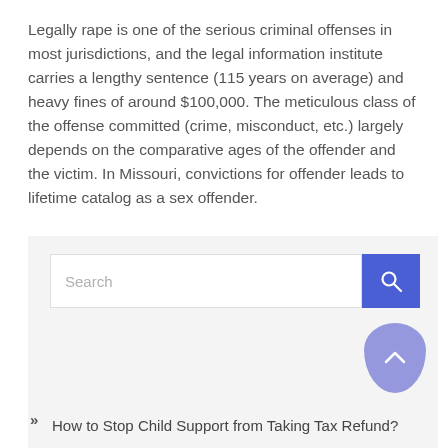Legally rape is one of the serious criminal offenses in most jurisdictions, and the legal information institute carries a lengthy sentence (115 years on average) and heavy fines of around $100,000. The meticulous class of the offense committed (crime, misconduct, etc.) largely depends on the comparative ages of the offender and the victim. In Missouri, convictions for offender leads to lifetime catalog as a sex offender.
[Figure (other): Search box with a blue search button containing a magnifying glass icon, inside a light gray sidebar/widget box]
» How to Stop Child Support from Taking Tax Refund?